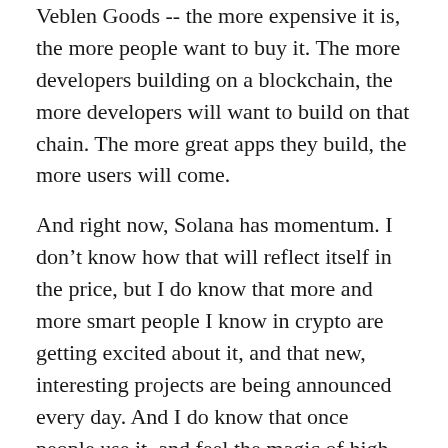Veblen Goods -- the more expensive it is, the more people want to buy it. The more developers building on a blockchain, the more developers will want to build on that chain. The more great apps they build, the more users will come.
And right now, Solana has momentum. I don't know how that will reflect itself in the price, but I do know that more and more smart people I know in crypto are getting excited about it, and that new, interesting projects are being announced every day. And I do know that once people use it, and feel the magic of high speeds and low costs, they're going to add it to their rotation.
Personally, I will be adding to my Solana position and looking at startups in the Solana ecosystem. The fact that SOL is worth <10% of ETH, <5% of BTC, and